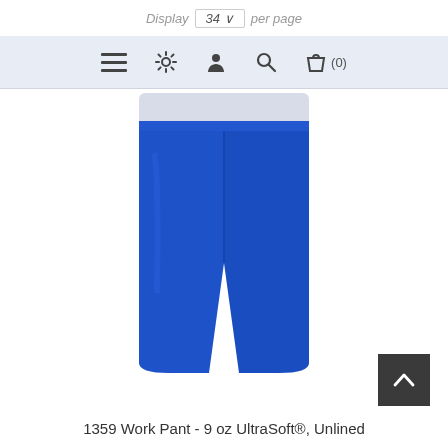Display 34 per page
[Figure (screenshot): Website navigation bar with hamburger menu, settings gear icon, user/account icon, search icon, and shopping bag icon with (0) count, on a light blue-grey background]
[Figure (photo): Royal blue work pants with white waistband, straight leg style, product model 1359]
1359 Work Pant - 9 oz UltraSoft®, Unlined